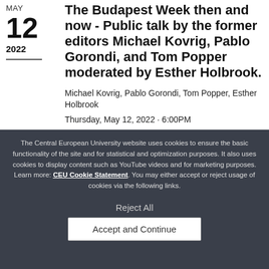The Budapest Week then and now - Public talk by the former editors Michael Kovrig, Pablo Gorondi, and Tom Popper moderated by Esther Holbrook.
Michael Kovrig, Pablo Gorondi, Tom Popper, Esther Holbrook
Thursday, May 12, 2022 · 6:00PM
The Central European University website uses cookies to ensure the basic functionality of the site and for statistical and optimization purposes. It also uses cookies to display content such as YouTube videos and for marketing purposes. Learn more: CEU Cookie Statement. You may either accept or reject usage of cookies via the following links.
Reject All
Accept and Continue